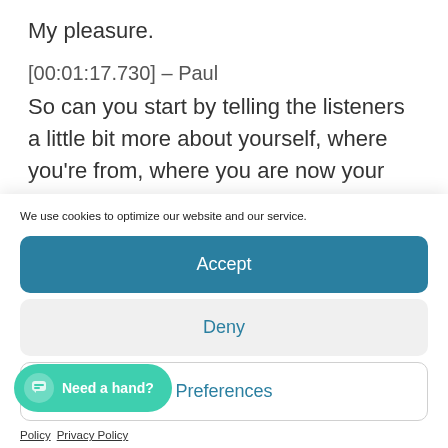My pleasure.
[00:01:17.730] – Paul
So can you start by telling the listeners a little bit more about yourself, where you're from, where you are now your experience with
We use cookies to optimize our website and our service.
Accept
Deny
Preferences
Need a hand?
Policy   Privacy Policy